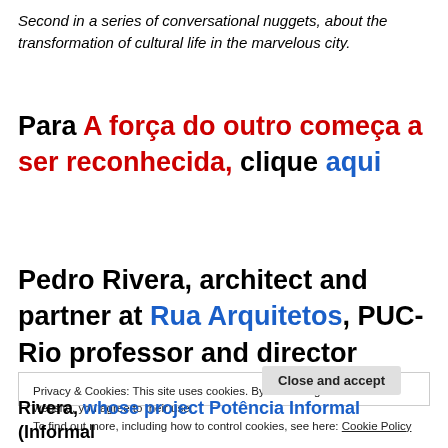Second in a series of conversational nuggets, about the transformation of cultural life in the marvelous city.
Para A força do outro começa a ser reconhecida, clique aqui
Pedro Rivera, architect and partner at Rua Arquitetos, PUC-Rio professor and director
Privacy & Cookies: This site uses cookies. By continuing to use this website, you agree to their use.
To find out more, including how to control cookies, see here: Cookie Policy
Rivera, whose project Potência Informal (Informal